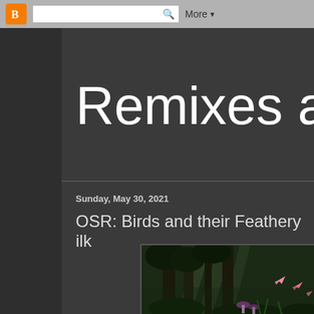Blogger navigation bar with search and More button
Remixes and
Sunday, May 30, 2021
OSR: Birds and their Feathery ilk
[Figure (photo): A dark fantasy jungle scene with rays of light filtering through trees and pink/red bird-like creatures flying among mushrooms and tropical plants]